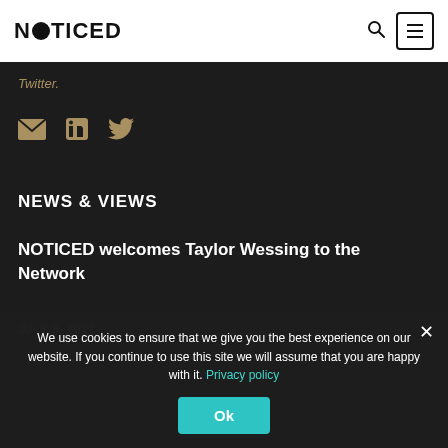NOTICED
Twitter.
[Figure (illustration): Social media icons: email (envelope), LinkedIn, Twitter bird — in gold/tan color on dark background]
NEWS & VIEWS
NOTICED welcomes Taylor Wessing to the Network
JULY 8, 2022
We use cookies to ensure that we give you the best experience on our website. If you continue to use this site we will assume that you are happy with it. Privacy policy
Ok